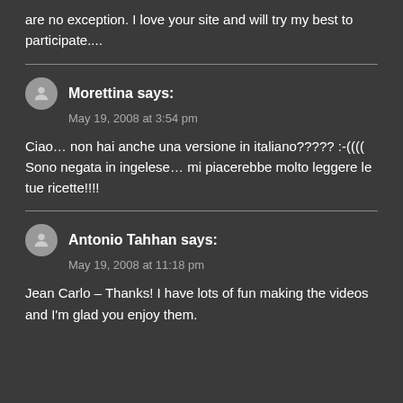are no exception. I love your site and will try my best to participate....
Morettina says:
May 19, 2008 at 3:54 pm
Ciao… non hai anche una versione in italiano????? :-(((( Sono negata in ingelese… mi piacerebbe molto leggere le tue ricette!!!!
Antonio Tahhan says:
May 19, 2008 at 11:18 pm
Jean Carlo – Thanks! I have lots of fun making the videos and I'm glad you enjoy them.